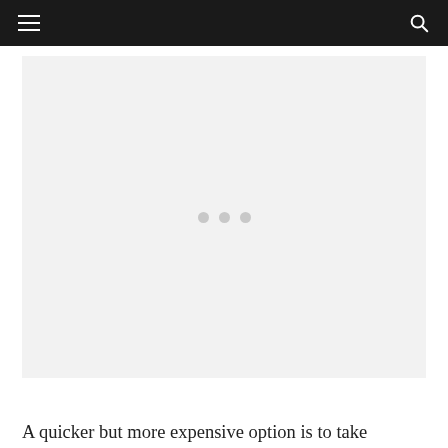☰  🔍
[Figure (other): Loading placeholder image area with three grey dots indicating content is loading]
A quicker but more expensive option is to take